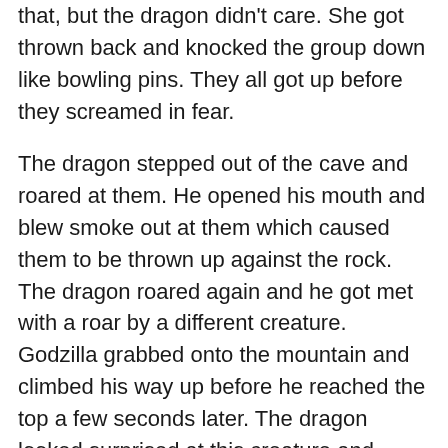that, but the dragon didn't care. She got thrown back and knocked the group down like bowling pins. They all got up before they screamed in fear.
The dragon stepped out of the cave and roared at them. He opened his mouth and blew smoke out at them which caused them to be thrown up against the rock. The dragon roared again and he got met with a roar by a different creature. Godzilla grabbed onto the mountain and climbed his way up before he reached the top a few seconds later. The dragon looked surprised at this creature and Godzilla roared as loud as he could as this creature. The dragon roared in response and the two went at each other. They collided and began fighting one another. Godzilla picked up the dragon's head and slammed it into the ground causing